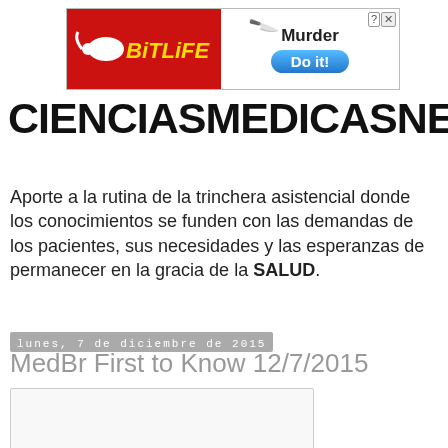[Figure (screenshot): BitLife app advertisement banner with red background on left showing BitLife logo, and white section on right with 'Murder Do it!' text and blue button]
CIENCIASMEDICASNEWS
Aporte a la rutina de la trinchera asistencial donde los conocimientos se funden con las demandas de los pacientes, sus necesidades y las esperanzas de permanecer en la gracia de la SALUD.
lunes, 7 de diciembre de 2015
MedBr First to Know 12/7/2015
[Figure (photo): Empty image placeholder box]
Letter from Ivanhoe's President
A Day to Remember